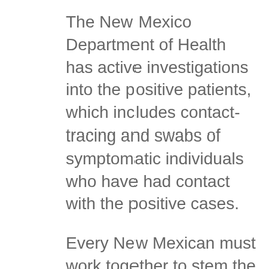The New Mexico Department of Health has active investigations into the positive patients, which includes contact-tracing and swabs of symptomatic individuals who have had contact with the positive cases.
Every New Mexican must work together to stem the spread of COVID-19. Wear a mask when in public and around others. If you are sick, stay home as much as possible.
New Mexicans who report symptoms of COVID-19 infection, such as fever, cough, shortness of breath, chills, repeated shaking with chills, muscle pain, headache, sore throat, congestion or